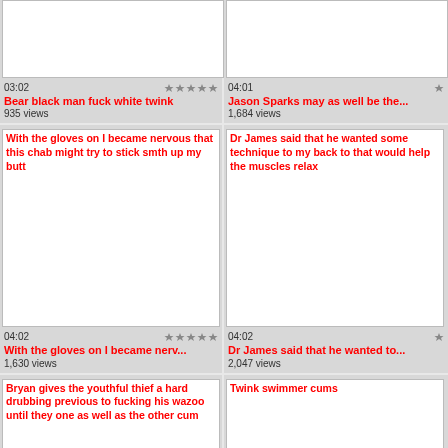[Figure (screenshot): Video thumbnail - top left card, white box, partially cropped at top]
03:02
Bear black man fuck white twink
935 views
[Figure (screenshot): Video thumbnail - top right card, white box, partially cropped at top]
04:01
Jason Sparks may as well be the...
1,684 views
[Figure (screenshot): Video thumbnail - middle left, with alt text: With the gloves on I became nervous that this chab might try to stick smth up my butt]
04:02
With the gloves on I became nerv...
1,630 views
[Figure (screenshot): Video thumbnail - middle right, with alt text: Dr James said that he wanted some technique to my back to that would help the muscles relax]
04:02
Dr James said that he wanted to...
2,047 views
[Figure (screenshot): Video thumbnail - bottom left, with alt text: Bryan gives the youthful thief a hard drubbing previous to fucking his wazoo until they one as well as the other cum]
[Figure (screenshot): Video thumbnail - bottom right, with alt text: Twink swimmer cums]